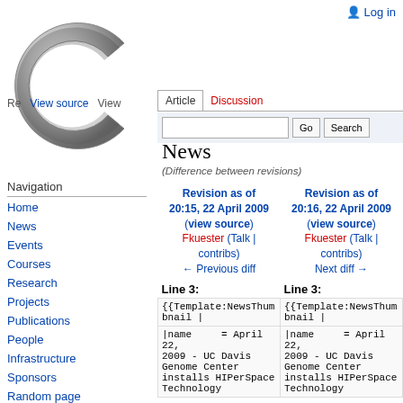Log in
[Figure (logo): Mediawiki/wiki C logo, large metallic gray C letter]
Re   View source   View
Article   Discussion
Go   Search
News
(Difference between revisions)
Navigation
Home
News
Events
Courses
Research
Projects
Publications
People
Infrastructure
Sponsors
Random page
Join Us
Intranet
| Revision as of 20:15, 22 April 2009 (view source) | Revision as of 20:16, 22 April 2009 (view source) |
| --- | --- |
| Fkuester (Talk | contribs) | Fkuester (Talk | contribs) |
| ← Previous diff | Next diff → |
| Line 3: | Line 3: |
| {{Template:NewsThum bnail | | {{Template:NewsThum bnail | |
| |name = April 22, 2009 - UC Davis Genome Center installs HIPerSpace Technology | |name = April 22, 2009 - UC Davis Genome Center installs HIPerSpace Technology |